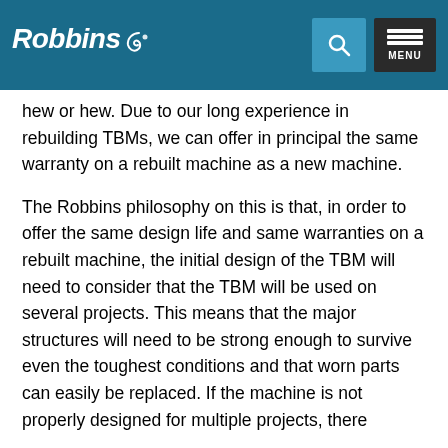Robbins [logo] [search] MENU
hew or hew. Due to our long experience in rebuilding TBMs, we can offer in principal the same warranty on a rebuilt machine as a new machine.
The Robbins philosophy on this is that, in order to offer the same design life and same warranties on a rebuilt machine, the initial design of the TBM will need to consider that the TBM will be used on several projects. This means that the major structures will need to be strong enough to survive even the toughest conditions and that worn parts can easily be replaced. If the machine is not properly designed for multiple projects, there